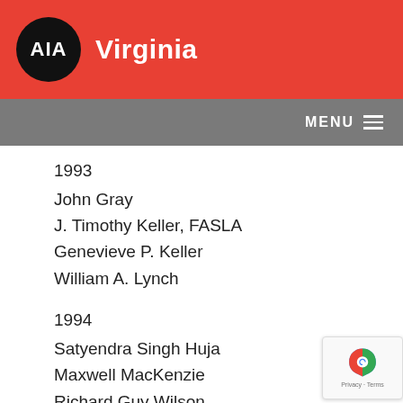AIA Virginia
MENU
1993
John Gray
J. Timothy Keller, FASLA
Genevieve P. Keller
William A. Lynch
1994
Satyendra Singh Huja
Maxwell MacKenzie
Richard Guy Wilson
1995
Henry Cersley
Bruce Cody
1996